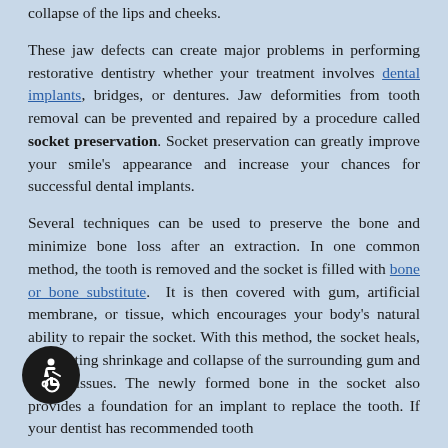collapse of the lips and cheeks.
These jaw defects can create major problems in performing restorative dentistry whether your treatment involves dental implants, bridges, or dentures. Jaw deformities from tooth removal can be prevented and repaired by a procedure called socket preservation. Socket preservation can greatly improve your smile’s appearance and increase your chances for successful dental implants.
Several techniques can be used to preserve the bone and minimize bone loss after an extraction. In one common method, the tooth is removed and the socket is filled with bone or bone substitute. It is then covered with gum, artificial membrane, or tissue, which encourages your body’s natural ability to repair the socket. With this method, the socket heals, eliminating shrinkage and collapse of the surrounding gum and facial tissues. The newly formed bone in the socket also provides a foundation for an implant to replace the tooth. If your dentist has recommended tooth
[Figure (illustration): Accessibility icon — white wheelchair symbol on black circular background, positioned at bottom-left of page]